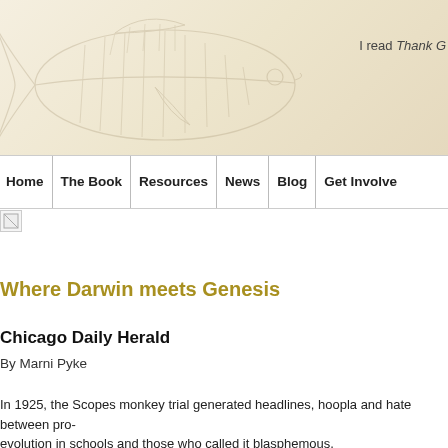[Figure (illustration): Faint watermark-style illustration of a fossil fish skeleton on a warm beige/cream gradient background header banner]
I read Thank G
Home | The Book | Resources | News | Blog | Get Involve
[Figure (other): Broken image icon placeholder]
Where Darwin meets Genesis
Chicago Daily Herald
By Marni Pyke
In 1925, the Scopes monkey trial generated headlines, hoopla and hate between pro-evolution in schools and those who called it blasphemous.